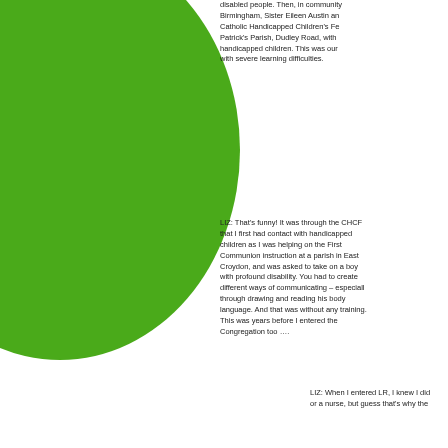[Figure (illustration): Large green circle decorative element in the upper-left area of the page]
disabled people. Then, in community Birmingham, Sister Eileen Austin an Catholic Handicapped Children's Fe Patrick's Parish, Dudley Road, with handicapped children. This was our with severe learning difficulties.
LIZ: That's funny! It was through the CHCF that I first had contact with handicapped children as I was helping on the First Communion instruction at a parish in East Croydon, and was asked to take on a boy with profound disability. You had to create different ways of communicating – especial through drawing and reading his body language. And that was without any training This was years before I entered the Congregation too ….
LIZ: When I entered LR, I knew I did or a nurse, but guess that's why the